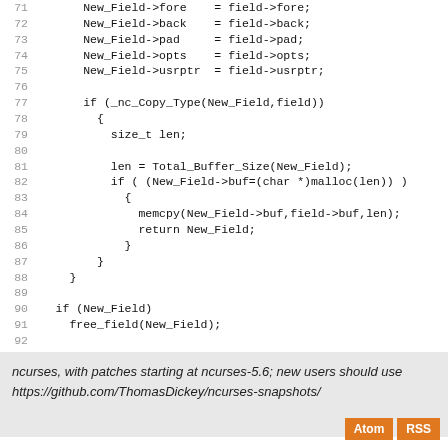[Figure (screenshot): Source code listing (C language) showing lines 71-97 of fld_dup.c with line numbers on the left and code on the right]
ncurses, with patches starting at ncurses-5.6; new users should use https://github.com/ThomasDickey/ncurses-snapshots/
Atom  RSS